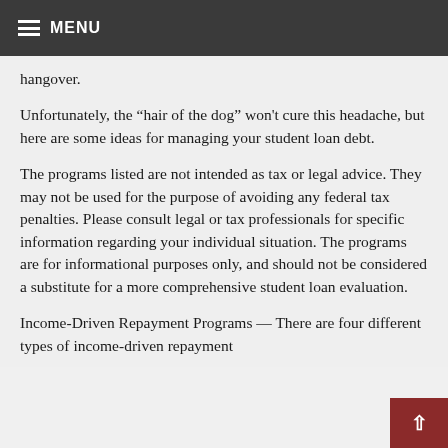MENU
hangover.
Unfortunately, the “hair of the dog” won't cure this headache, but here are some ideas for managing your student loan debt.
The programs listed are not intended as tax or legal advice. They may not be used for the purpose of avoiding any federal tax penalties. Please consult legal or tax professionals for specific information regarding your individual situation. The programs are for informational purposes only, and should not be considered a substitute for a more comprehensive student loan evaluation.
Income-Driven Repayment Programs — There are four different types of income-driven repayment